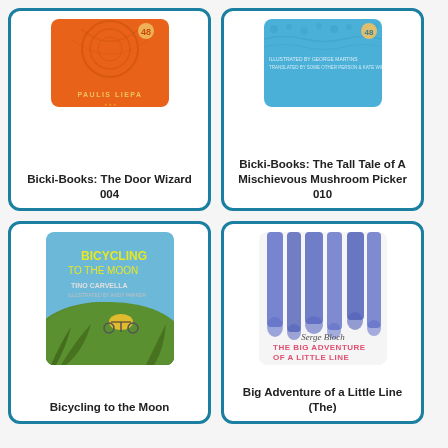[Figure (illustration): Book cover for Bicki-Books: The Door Wizard 004, orange background with decorative design and author name PAULIS LIEPA]
Bicki-Books: The Door Wizard 004
[Figure (illustration): Book cover for Bicki-Books: The Tall Tale of A Mischievous Mushroom Picker 010, blue background with text]
Bicki-Books: The Tall Tale of A Mischievous Mushroom Picker 010
[Figure (illustration): Book cover for Bicycling to the Moon by Tino Carvella, illustrated with a bee riding a bicycle up a green hill on a blue sky background]
Bicycling to the Moon
[Figure (illustration): Book cover for The Big Adventure of a Little Line by Serge Bloch, white background with blue painted vertical lines and pink handwritten text]
Big Adventure of a Little Line (The)